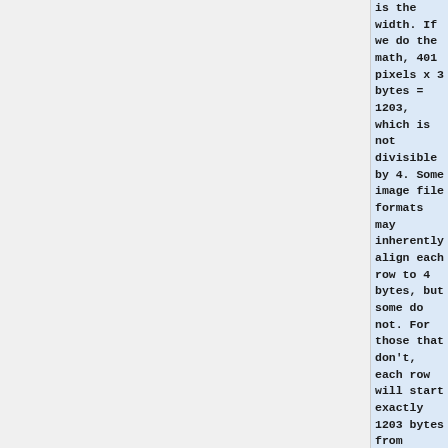is the width. If we do the math, 401 pixels x 3 bytes = 1203, which is not divisible by 4. Some image file formats may inherently align each row to 4 bytes, but some do not. For those that don't, each row will start exactly 1203 bytes from